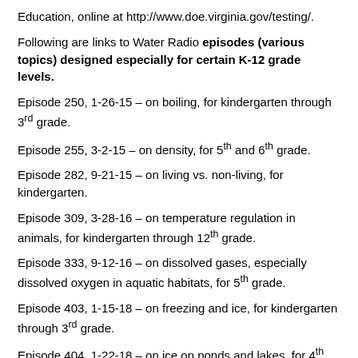Education, online at http://www.doe.virginia.gov/testing/.
Following are links to Water Radio episodes (various topics) designed especially for certain K-12 grade levels.
Episode 250, 1-26-15 – on boiling, for kindergarten through 3rd grade.
Episode 255, 3-2-15 – on density, for 5th and 6th grade.
Episode 282, 9-21-15 – on living vs. non-living, for kindergarten.
Episode 309, 3-28-16 – on temperature regulation in animals, for kindergarten through 12th grade.
Episode 333, 9-12-16 – on dissolved gases, especially dissolved oxygen in aquatic habitats, for 5th grade.
Episode 403, 1-15-18 – on freezing and ice, for kindergarten through 3rd grade.
Episode 404, 1-22-18 – on ice on ponds and lakes, for 4th